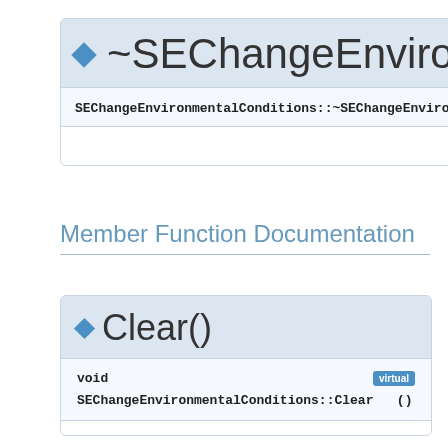[Figure (other): UML-style documentation box for destructor ~SEChangeEnvironmentalConditions with header showing diamond icon and truncated title, body showing SEChangeEnvironmentalConditions::~SEChangeEnvironmenta code signature, and an empty white section below]
Member Function Documentation
[Figure (other): UML-style documentation box for Clear() method with diamond icon and title Clear(), body showing void return type with virtual badge and SEChangeEnvironmentalConditions::Clear () signature]